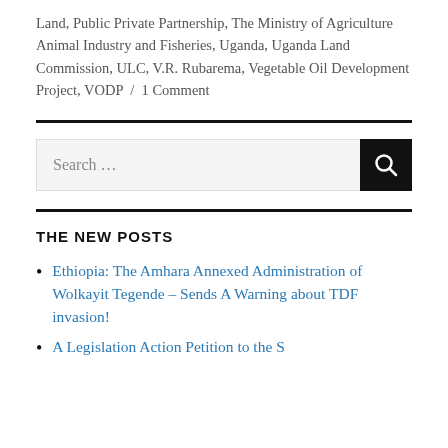Land, Public Private Partnership, The Ministry of Agriculture Animal Industry and Fisheries, Uganda, Uganda Land Commission, ULC, V.R. Rubarema, Vegetable Oil Development Project, VODP / 1 Comment
[Figure (other): Horizontal black divider line]
[Figure (screenshot): Search bar with text 'Search ...' and a black search button with magnifying glass icon]
[Figure (other): Horizontal black divider line]
THE NEW POSTS
Ethiopia: The Amhara Annexed Administration of Wolkayit Tegende – Sends A Warning about TDF invasion!
A Legislation Action Petition to the S...